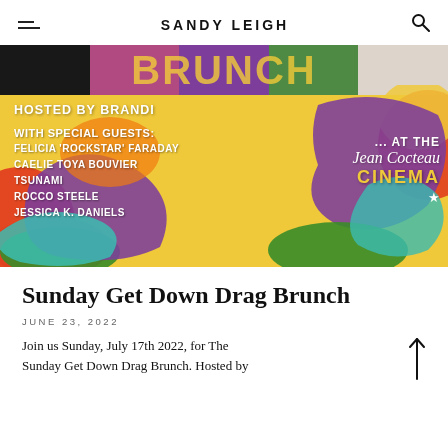SANDY LEIGH
[Figure (infographic): Colorful drag brunch event poster with yellow background, rainbow blob shapes, top photo strip, 'BRUNCH' text lettered over photos. Text reads: 'HOSTED BY BRANDI', 'WITH SPECIAL GUESTS:', 'FELICIA ROCKSTAR FARADAY', 'CAELIE TOYA BOUVIER', 'TSUNAMI', 'ROCCO STEELE', 'JESSICA K. DANIELS', '... AT THE Jean Cocteau CINEMA']
Sunday Get Down Drag Brunch
JUNE 23, 2022
Join us Sunday, July 17th 2022, for The Sunday Get Down Drag Brunch. Hosted by